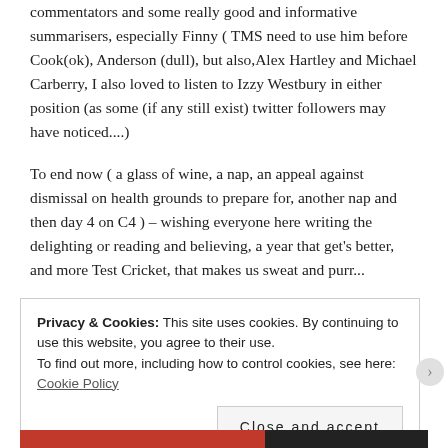commentators and some really good and informative summarisers, especially Finny ( TMS need to use him before Cook(ok), Anderson (dull), but also,Alex Hartley and Michael Carberry, I also loved to listen to Izzy Westbury in either position (as some (if any still exist) twitter followers may have noticed....)
To end now ( a glass of wine, a nap, an appeal against dismissal on health grounds to prepare for, another nap and then day 4 on C4 ) – wishing everyone here writing the delighting or reading and believing, a year that get's better, and more Test Cricket, that makes us sweat and purr...
Privacy & Cookies: This site uses cookies. By continuing to use this website, you agree to their use.
To find out more, including how to control cookies, see here: Cookie Policy
Close and accept